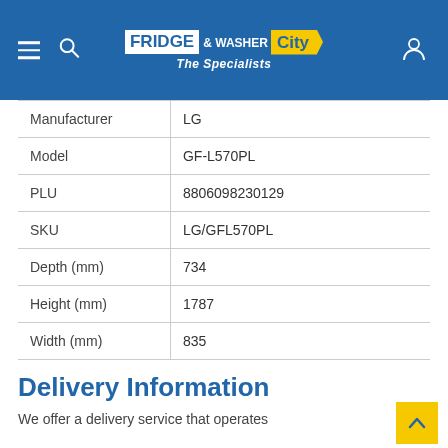FRIDGE & WASHER City — The Specialists
|  |  |
| --- | --- |
| Manufacturer | LG |
| Model | GF-L570PL |
| PLU | 8806098230129 |
| SKU | LG/GFL570PL |
| Depth (mm) | 734 |
| Height (mm) | 1787 |
| Width (mm) | 835 |
Delivery Information
We offer a delivery service that operates